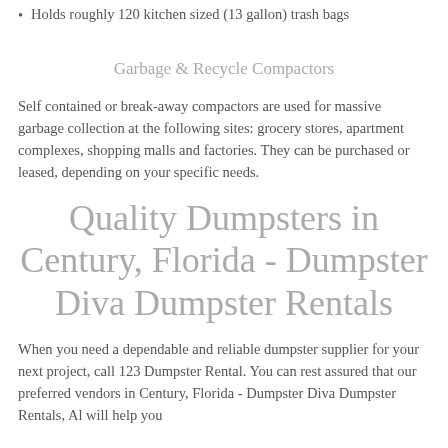Holds roughly 120 kitchen sized (13 gallon) trash bags
Garbage & Recycle Compactors
Self contained or break-away compactors are used for massive garbage collection at the following sites: grocery stores, apartment complexes, shopping malls and factories. They can be purchased or leased, depending on your specific needs.
Quality Dumpsters in Century, Florida - Dumpster Diva Dumpster Rentals
When you need a dependable and reliable dumpster supplier for your next project, call 123 Dumpster Rental. You can rest assured that our preferred vendors in Century, Florida - Dumpster Diva Dumpster Rentals, Al will help you